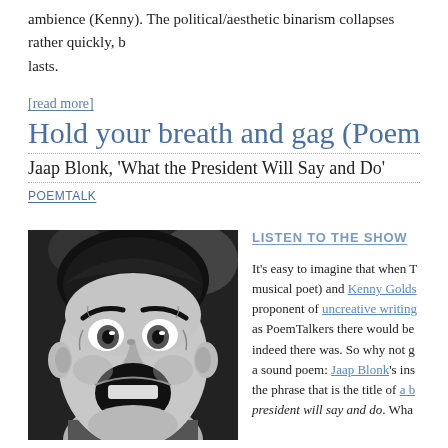ambience (Kenny). The political/aesthetic binarism collapses rather quickly, b... lasts.
[read more]
Hold your breath and gag (PoemTalk #6...
Jaap Blonk, 'What the President Will Say and Do'
POEMTALK
[Figure (photo): Black and white close-up photo of a man with a shocked/exaggerated expression, wide eyes and open mouth.]
LISTEN TO THE SHOW
It’s easy to imagine that when T... musical poet) and Kenny Golds... proponent of uncreative writing... as PoemTalkers there would be... indeed there was. So why not g... a sound poem: Jaap Blonk’s ins... the phrase that is the title of a b... president will say and do. Wha...